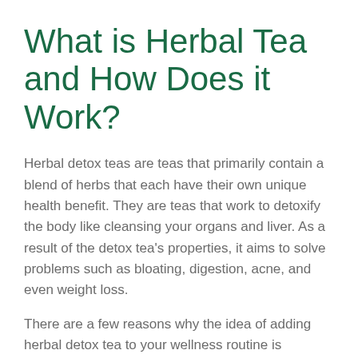What is Herbal Tea and How Does it Work?
Herbal detox teas are teas that primarily contain a blend of herbs that each have their own unique health benefit. They are teas that work to detoxify the body like cleansing your organs and liver. As a result of the detox tea's properties, it aims to solve problems such as bloating, digestion, acne, and even weight loss.
There are a few reasons why the idea of adding herbal detox tea to your wellness routine is appealing. For one, tea consumption has been linked